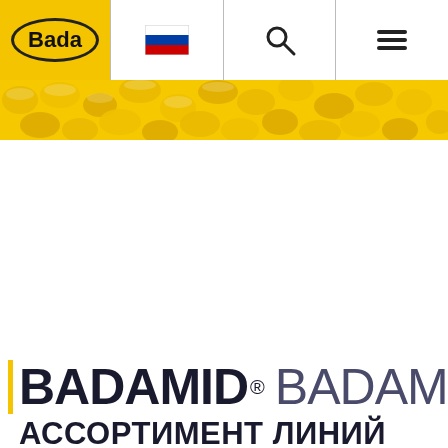[Figure (logo): Bada company logo on yellow background with oval border]
[Figure (illustration): Russian flag icon in navigation button]
[Figure (illustration): Search magnifier icon in navigation button]
[Figure (illustration): Hamburger menu icon in navigation button]
[Figure (photo): Hero banner image of yellow plastic pellets/granules close-up]
BADAMID® BADAMID
АССОРТИМЕНТ ЛИНИЙ